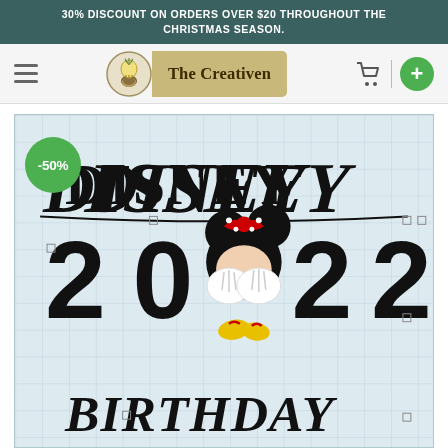30% DISCOUNT ON ORDERS OVER $20 THROUGHOUT THE CHRISTMAS SEASON.
[Figure (logo): The Creativen shop logo with lightbulb icon and shopping cart, plus button navigation]
[Figure (illustration): Disney 2022 Birthday Minnie Mouse SVG design on a grid cutting mat background with -50% discount badge. Shows the text DISNEY in stylized font, 2022 with Minnie Mouse character in the zeros, and BIRTHDAY in stylized script below.]